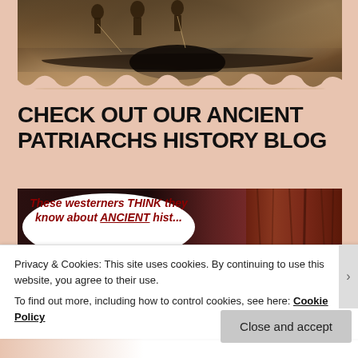[Figure (photo): Sepia-toned historical photograph showing people with canoe/boat and an animal carcass on the ground, with torn bottom edge]
CHECK OUT OUR ANCIENT PATRIARCHS HISTORY BLOG
[Figure (photo): Dark background image with speech bubble text reading 'These westerners THINK they know about ANCIENT history?' in red bold italic text, with wooden texture on right side]
Privacy & Cookies: This site uses cookies. By continuing to use this website, you agree to their use.
To find out more, including how to control cookies, see here: Cookie Policy
Close and accept